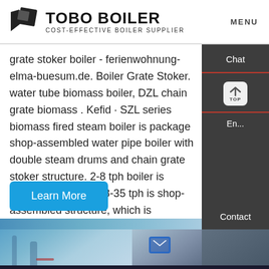[Figure (logo): TOBO BOILER logo with geometric black icon and text 'TOBO BOILER / COST-EFFECTIVE BOILER SUPPLIER']
grate stoker boiler - ferienwohnung-elma-buesum.de. Boiler Grate Stoker. water tube biomass boiler, DZL chain grate biomass . Kefid · SZL series biomass fired steam boiler is package shop-assembled water pipe boiler with double steam drums and chain grate stoker structure. 2-8 tph boiler is package boiler and 8-35 tph is shop-assembled structure, which is composed of 2 …
Learn More
[Figure (screenshot): Chat and navigation side panel with 'Chat', 'TOP' button, and 'En' language options on dark background]
[Figure (photo): Industrial boiler equipment photo strip showing blue industrial pipes and machinery]
Contact
Hey, we are live 24/7. How may I help you?
Send Message
Inquiry Online